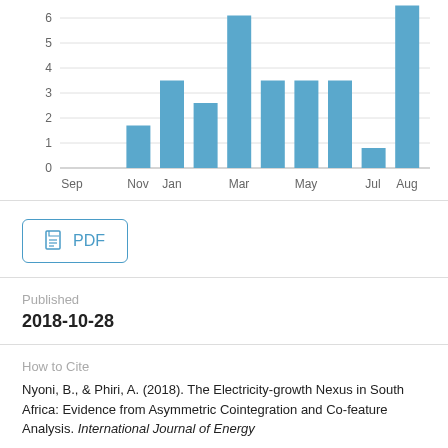[Figure (bar-chart): ]
[Figure (other): PDF button with document icon]
Published
2018-10-28
How to Cite
Nyoni, B., & Phiri, A. (2018). The Electricity-growth Nexus in South Africa: Evidence from Asymmetric Cointegration and Co-feature Analysis. International Journal of Energy